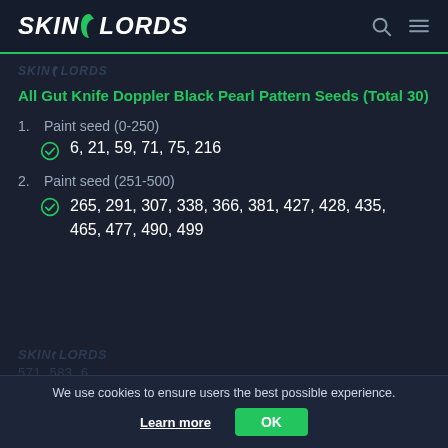SKINLORDS
[Figure (logo): SkinLords watermark logo in dark muted color]
All Gut Knife Doppler Black Pearl Pattern Seeds (Total 30)
Paint seed (0-250): 6, 21, 59, 71, 75, 216
Paint seed (251-500): 265, 291, 307, 338, 366, 381, 427, 428, 435, 465, 477, 490, 499
We use cookies to ensure users the best possible experience.
Learn more  OK